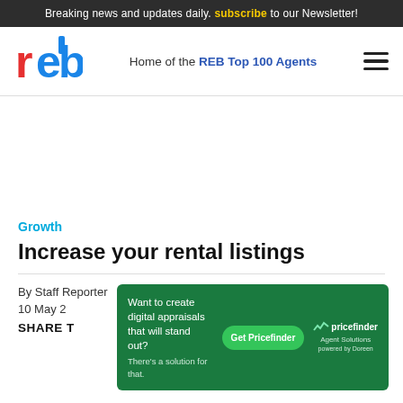Breaking news and updates daily. subscribe to our Newsletter!
[Figure (logo): REB logo - red and blue letters 'reb']
Home of the REB Top 100 Agents
[Figure (other): Hamburger menu icon (three horizontal lines)]
[Figure (other): Advertisement space (blank white area)]
Growth
Increase your rental listings
By Staff Reporter
10 May 2...
SHARE T...
[Figure (other): Popup advertisement: Want to create digital appraisals that will stand out? There's a solution for that. Get Pricefinder. Pricefinder Agent Solutions.]